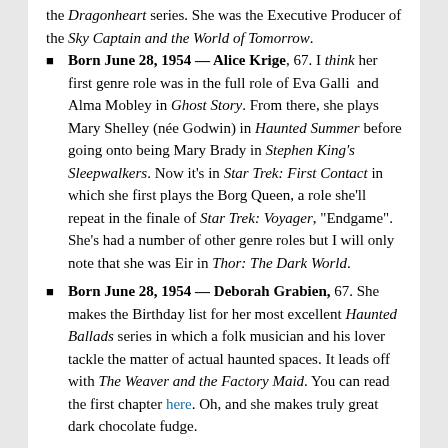the Dragonheart series. She was the Executive Producer of the Sky Captain and the World of Tomorrow.
Born June 28, 1954 — Alice Krige, 67. I think her first genre role was in the full role of Eva Galli  and Alma Mobley in Ghost Story. From there, she plays Mary Shelley (née Godwin) in Haunted Summer before going onto being Mary Brady in Stephen King's Sleepwalkers. Now it's in Star Trek: First Contact in which she first plays the Borg Queen, a role she'll repeat in the finale of Star Trek: Voyager, "Endgame". She's had a number of other genre roles but I will only note that she was Eir in Thor: The Dark World.
Born June 28, 1954 — Deborah Grabien, 67. She makes the Birthday list for her most excellent Haunted Ballads series in which a folk musician and his lover tackle the matter of actual haunted spaces. It leads off with The Weaver and the Factory Maid. You can read the first chapter here. Oh, and she makes truly great dark chocolate fudge.